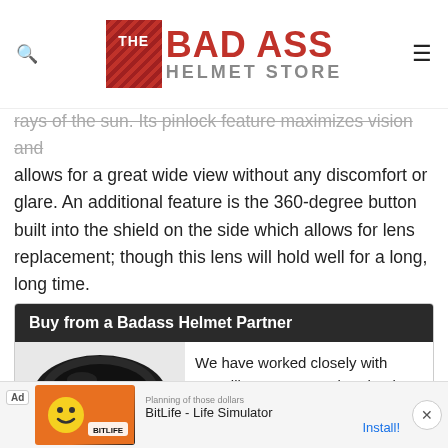THE BAD ASS HELMET STORE
rays of the sun. Its pinlock feature maximizes vision and allows for a great wide view without any discomfort or glare. An additional feature is the 360-degree button built into the shield on the side which allows for lens replacement; though this lens will hold well for a long, long time.
Buy from a Badass Helmet Partner
We have worked closely with RevZilla, Amazon and 2Wheel over the
[Figure (photo): Dark motorcycle helmet image]
[Figure (screenshot): Ad banner: BitLife - Life Simulator with Install button and close X]